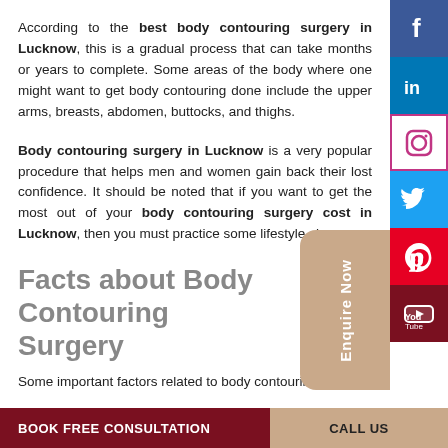According to the best body contouring surgery in Lucknow, this is a gradual process that can take months or years to complete. Some areas of the body where one might want to get body contouring done include the upper arms, breasts, abdomen, buttocks, and thighs.
Body contouring surgery in Lucknow is a very popular procedure that helps men and women gain back their lost confidence. It should be noted that if you want to get the most out of your body contouring surgery cost in Lucknow, then you must practice some lifestyle changes.
Facts about Body Contouring Surgery
Some important factors related to body contouring and b...
BOOK FREE CONSULTATION | CALL US